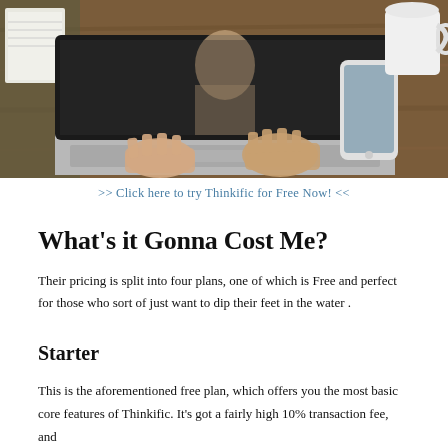[Figure (photo): Overhead view of a person typing on a MacBook laptop on a wooden desk, with a smartphone and white coffee mug visible to the right]
>> Click here to try Thinkific for Free Now! <<
What's it Gonna Cost Me?
Their pricing is split into four plans, one of which is Free and perfect for those who sort of just want to dip their feet in the water .
Starter
This is the aforementioned free plan, which offers you the most basic core features of Thinkific. It's got a fairly high 10% transaction fee, and